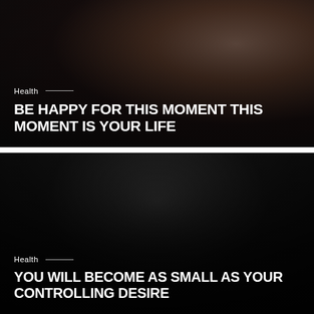[Figure (photo): Dark moody photo of a woman with brown hair touching her face, wearing a light knit sweater, photographed from neck up against dark background]
Health
BE HAPPY FOR THIS MOMENT THIS MOMENT IS YOUR LIFE
[Figure (photo): Dark moody photo of a blonde woman wearing a black leather jacket, shown from chest up against dark grey background]
Health
YOU WILL BECOME AS SMALL AS YOUR CONTROLLING DESIRE